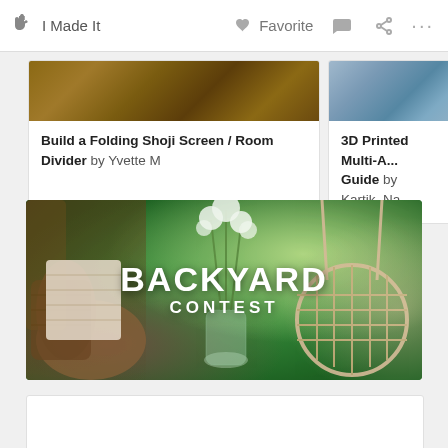I Made It   Favorite   ···
Build a Folding Shoji Screen / Room Divider by Yvette M
3D Printed Multi-A... Guide by Kartik_Na...
[Figure (photo): Backyard Contest banner image showing an outdoor garden scene with wicker baskets, a knitted blanket, flowers in a glass vase, lush green lawn, and a hanging rope swing chair. Text overlay reads BACKYARD CONTEST in white bold letters.]
[Figure (photo): Partially visible white card at the bottom of the page]